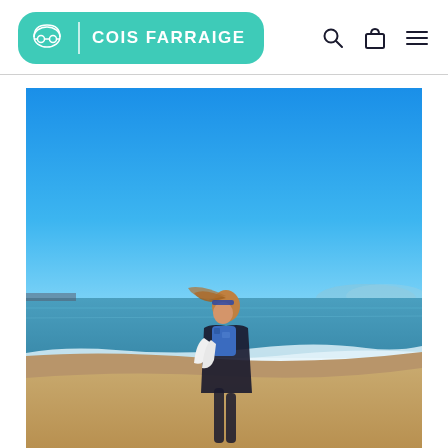COIS FARRAIGE — navigation header with logo, search, cart, and menu icons
[Figure (photo): Person standing on a sandy beach with blue sky and ocean in the background, wearing a blue patterned swimsuit top with a white towel and dark jacket, with wind blowing their hair.]